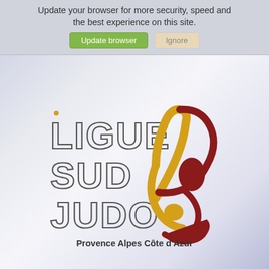Update your browser for more security, speed and the best experience on this site.
[Figure (logo): Ligue Sud Judo Provence Alpes Côte d'Azur logo with stylized judo figure in gold and dark red, with outlined block text LIGUE SUD JUDO]
Provence Alpes Côte d'Azur